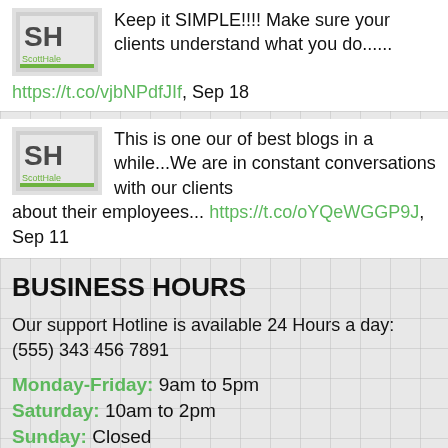Keep it SIMPLE!!!! Make sure your clients understand what you do......
https://t.co/vjbNPdfJIf, Sep 18
This is one our of best blogs in a while...We are in constant conversations with our clients about their employees... https://t.co/oYQeWGGP9J, Sep 11
BUSINESS HOURS
Our support Hotline is available 24 Hours a day: (555) 343 456 7891
Monday-Friday: 9am to 5pm
Saturday: 10am to 2pm
Sunday: Closed